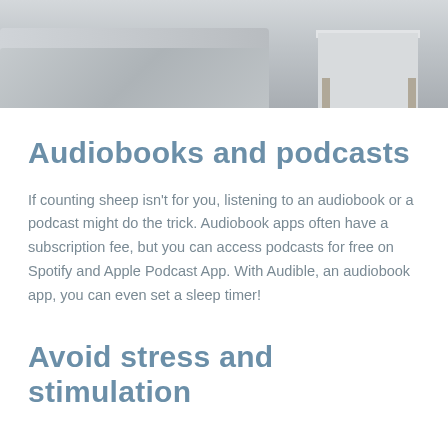[Figure (photo): Bedroom scene showing a bed with grey bedding and a white nightstand with wooden legs against a grey wall]
Audiobooks and podcasts
If counting sheep isn't for you, listening to an audiobook or a podcast might do the trick. Audiobook apps often have a subscription fee, but you can access podcasts for free on Spotify and Apple Podcast App. With Audible, an audiobook app, you can even set a sleep timer!
Avoid stress and stimulation